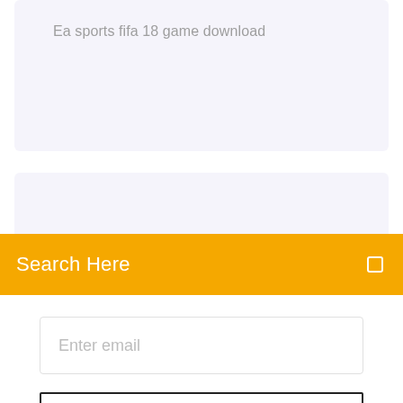Ea sports fifa 18 game download
[Figure (screenshot): Partially visible second card/section with truncated text]
Search Here
Enter email
Subscribe